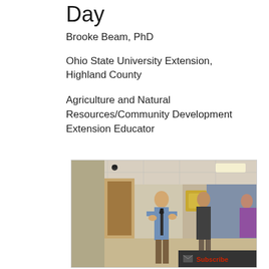Day
Brooke Beam, PhD
Ohio State University Extension, Highland County
Agriculture and Natural Resources/Community Development Extension Educator
[Figure (photo): People standing in a hallway or corridor of a building, appearing to be on a tour or group visit. A man in a blue shirt and tie is speaking to the group.]